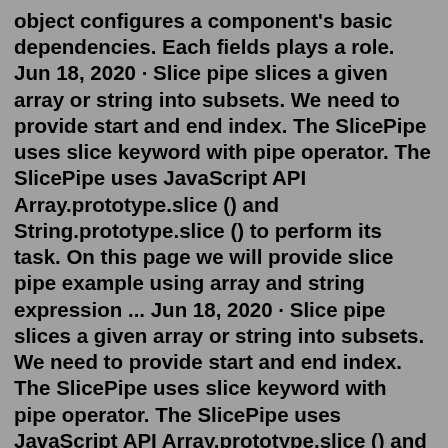object configures a component's basic dependencies. Each fields plays a role. Jun 18, 2020 · Slice pipe slices a given array or string into subsets. We need to provide start and end index. The SlicePipe uses slice keyword with pipe operator. The SlicePipe uses JavaScript API Array.prototype.slice () and String.prototype.slice () to perform its task. On this page we will provide slice pipe example using array and string expression ... Jun 18, 2020 · Slice pipe slices a given array or string into subsets. We need to provide start and end index. The SlicePipe uses slice keyword with pipe operator. The SlicePipe uses JavaScript API Array.prototype.slice () and String.prototype.slice () to perform its task. On this page we will provide slice pipe example using array and string expression ... May 03, 2021 · However, Angular ensures that we have total control of how the data can be presented. Angular provides pipes for us to transform data to the exact form we want it to be presented, like someone might have 10–01–2021 and convert that to the 10th of January 2021 ... Amo ...